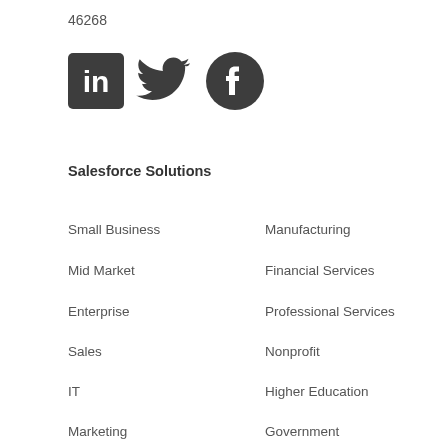46268
[Figure (logo): Three social media icons: LinkedIn (dark square with 'in'), Twitter (dark bird), Facebook (dark circle with 'f')]
Salesforce Solutions
Small Business
Manufacturing
Mid Market
Financial Services
Enterprise
Professional Services
Sales
Nonprofit
IT
Higher Education
Marketing
Government